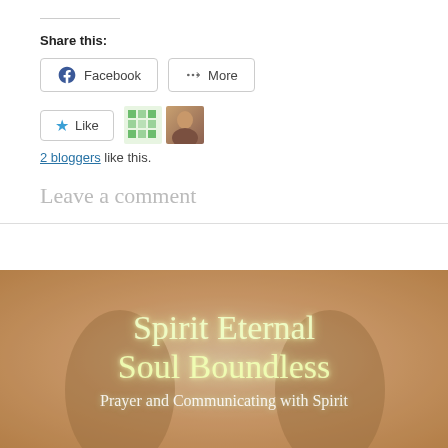Share this:
Facebook
More
Like
2 bloggers like this.
Leave a comment
[Figure (photo): Banner image with two silhouetted figures in a field, with glowing script text reading 'Spirit Eternal Soul Boundless' and subtitle 'Prayer and Communicating with Spirit']